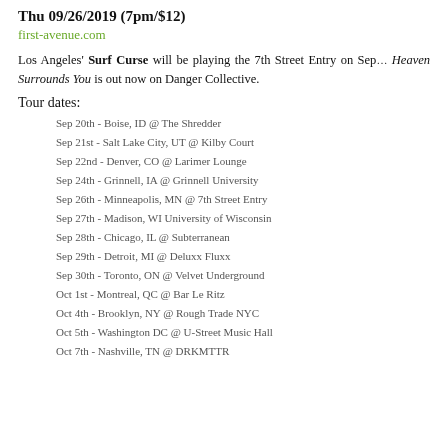Thu 09/26/2019 (7pm/$12)
first-avenue.com
Los Angeles' Surf Curse will be playing the 7th Street Entry on Sep... Heaven Surrounds You is out now on Danger Collective.
Tour dates:
Sep 20th - Boise, ID @ The Shredder
Sep 21st - Salt Lake City, UT @ Kilby Court
Sep 22nd - Denver, CO @ Larimer Lounge
Sep 24th - Grinnell, IA @ Grinnell University
Sep 26th - Minneapolis, MN @ 7th Street Entry
Sep 27th - Madison, WI University of Wisconsin
Sep 28th - Chicago, IL @ Subterranean
Sep 29th - Detroit, MI @ Deluxx Fluxx
Sep 30th - Toronto, ON @ Velvet Underground
Oct 1st - Montreal, QC @ Bar Le Ritz
Oct 4th - Brooklyn, NY @ Rough Trade NYC
Oct 5th - Washington DC @ U-Street Music Hall
Oct 7th - Nashville, TN @ DRKMTTR